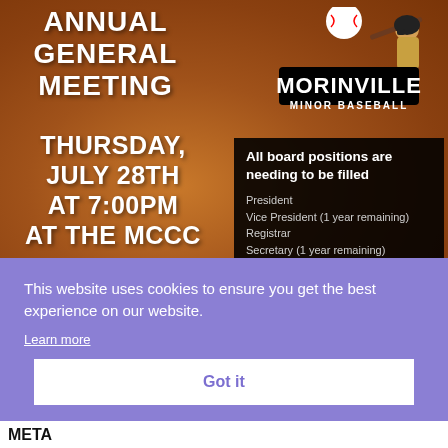[Figure (infographic): Morinville Minor Baseball Annual General Meeting event poster on a sandy/dirt baseball field background. Left side shows text: ANNUAL GENERAL MEETING / THURSDAY, JULY 28TH / AT 7:00PM / AT THE MCCC. Top right shows Morinville Minor Baseball logo with a batter. Lower right has a dark box listing board positions needing to be filled: President, Vice President (1 year remaining), Registrar, Secretary (1 year remaining), Treasurer.]
This website uses cookies to ensure you get the best experience on our website.
Learn more
Got it
META